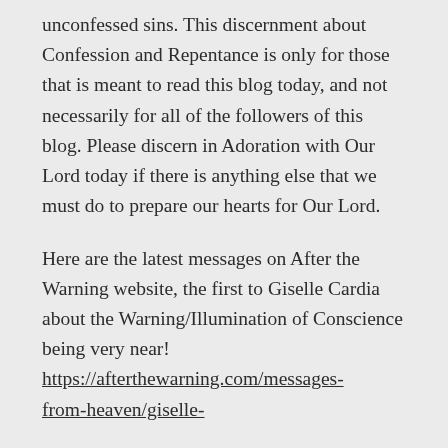unconfessed sins. This discernment about Confession and Repentance is only for those that is meant to read this blog today, and not necessarily for all of the followers of this blog. Please discern in Adoration with Our Lord today if there is anything else that we must do to prepare our hearts for Our Lord.
Here are the latest messages on After the Warning website, the first to Giselle Cardia about the Warning/Illumination of Conscience being very near! https://afterthewarning.com/messages-from-heaven/giselle-